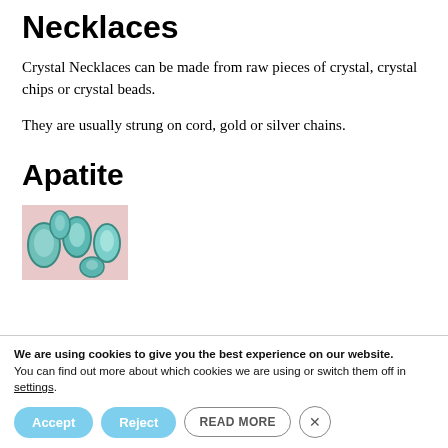Necklaces
Crystal Necklaces can be made from raw pieces of crystal, crystal chips or crystal beads.
They are usually strung on cord, gold or silver chains.
Apatite
[Figure (photo): Photo of apatite crystal stones, teal/green colored oval and irregular shaped gemstones on a light pink background]
We are using cookies to give you the best experience on our website.
You can find out more about which cookies we are using or switch them off in settings.
Accept   Reject   READ MORE   ×